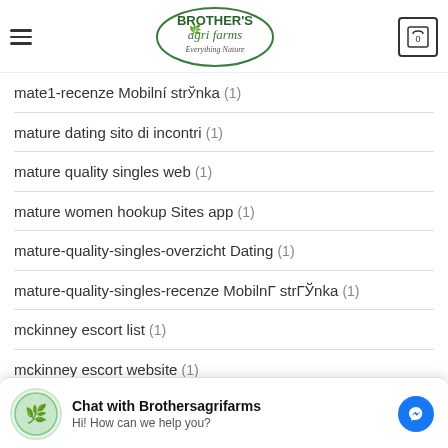Brother's Agri Farms - Everything Nature
mate1-recenze Mobilní strЎnka (1)
mature dating sito di incontri (1)
mature quality singles web (1)
mature women hookup Sites app (1)
mature-quality-singles-overzicht Dating (1)
mature-quality-singles-recenze MobilnГ strГЎnka (1)
mckinney escort list (1)
mckinney escort website (1)
Chat with Brothersagrifarms — Hi! How can we help you?